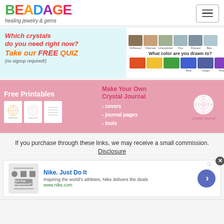BEADAGE healing jewelry & gems
[Figure (screenshot): Quiz banner: Which crystals do you need right now? Take our FREE QUIZ (no signup required!) with color images on the right asking What color are you drawn to?]
[Figure (screenshot): Free Printables banner: Make Your Own Crystal Journal - covers - journal pages - tools, with mandala illustration and crystal journal label]
If you purchase through these links, we may receive a small commission. Disclosure
[Figure (screenshot): Ad: Nike. Just Do It - Inspiring the world's athletes, Nike delivers the deals - www.nike.com]